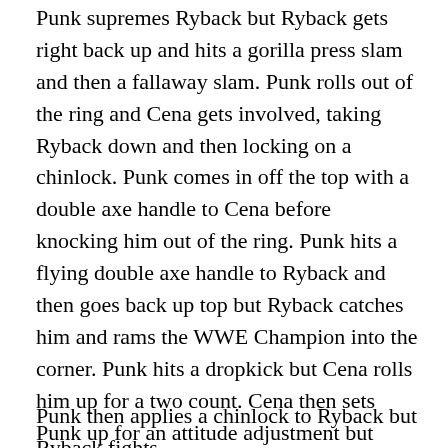Punk supremes Ryback but Ryback gets right back up and hits a gorilla press slam and then a fallaway slam. Punk rolls out of the ring and Cena gets involved, taking Ryback down and then locking on a chinlock. Punk comes in off the top with a double axe handle to Cena before knocking him out of the ring. Punk hits a flying double axe handle to Ryback and then goes back up top but Ryback catches him and rams the WWE Champion into the corner. Punk hits a dropkick but Cena rolls him up for a two count. Cena then sets Punk up for an attitude adjustment but Punk slips down and hits a DDT for a two count. Punk applies an inverted bridging chinlock but Ryback picks up Punk and hits a running powerslam. Cena then hits a slam on Ryback who gets right back up. The two men then exchange right hands until Cena hits a shoulder block. Punk then drags Cena out of the ring and launches him into the ring steps.
Punk then applies a chinlock to Ryback but Ryback fights